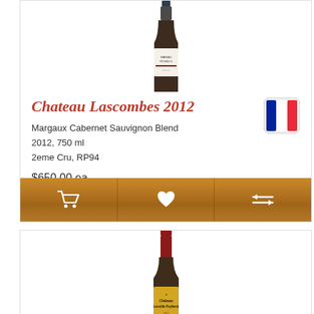[Figure (illustration): Wine bottle for Chateau Lascombes 2012, partially visible at top]
Chateau Lascombes 2012
Margaux Cabernet Sauvignon Blend
2012, 750 ml
2eme Cru, RP94
[Figure (illustration): French flag icon (blue, white, red vertical stripes) with rounded corners]
$650.00 ea
[Figure (illustration): Action bar with three icons: shopping cart, heart/wishlist, and compare arrows]
[Figure (illustration): Wine bottle for Chateau Leoville Poyferré, Saint-Julien, partially visible at bottom]